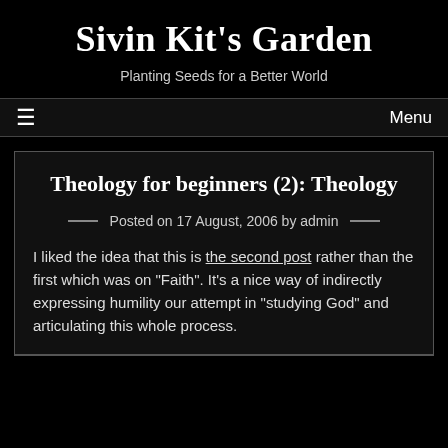Sivin Kit's Garden
Planting Seeds for a Better World
≡   Menu
Theology for beginners (2): Theology
Posted on 17 August, 2006 by admin
I liked the idea that this is the second post rather than the first which was on "Faith". It's a nice way of indirectly expressing humility our attempt in "studying God" and articulating this whole process.